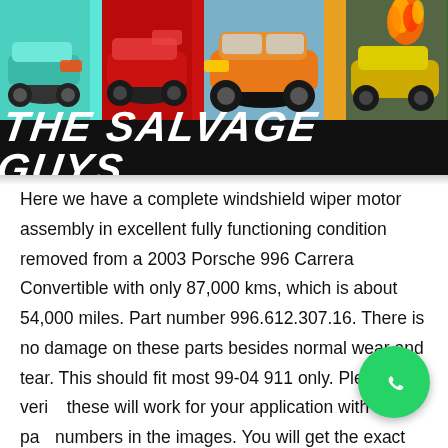[Figure (photo): Collage of colorful sports cars (teal, red, orange Porsche, yellow burning car) arranged side by side]
THE SALVAGE GUYS
Here we have a complete windshield wiper motor assembly in excellent fully functioning condition removed from a 2003 Porsche 996 Carrera Convertible with only 87,000 kms, which is about 54,000 miles. Part number 996.612.307.16. There is no damage on these parts besides normal wear and tear. This should fit most 99-04 911 only. Please verify these will work for your application with the part numbers in the images. You will get the exact items